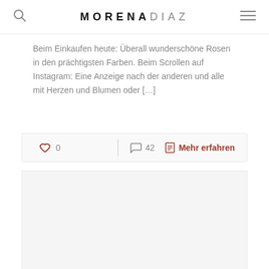MORENADIAZ
Beim Einkaufen heute: Überall wunderschöne Rosen in den prächtigsten Farben. Beim Scrollen auf Instagram: Eine Anzeige nach der anderen und alle mit Herzen und Blumen oder […]
♡ 0   42   Mehr erfahren
[Figure (photo): Partially visible image placeholder at the bottom of the page]